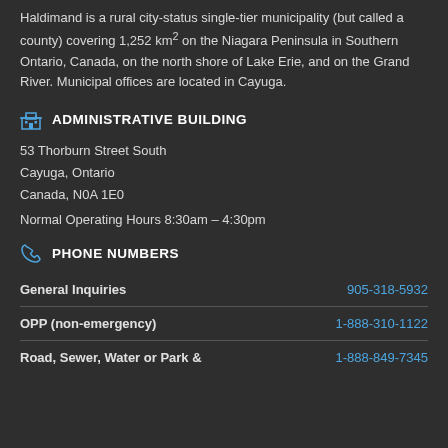Haldimand is a rural city-status single-tier municipality (but called a county) covering 1,252 km² on the Niagara Peninsula in Southern Ontario, Canada, on the north shore of Lake Erie, and on the Grand River. Municipal offices are located in Cayuga.
ADMINISTRATIVE BUILDING
53 Thorburn Street South
Cayuga, Ontario
Canada, N0A 1E0
Normal Operating Hours 8:30am – 4:30pm
PHONE NUMBERS
|  |  |
| --- | --- |
| General Inquiries | 905-318-5932 |
| OPP (non-emergency) | 1-888-310-1122 |
| Road, Sewer, Water or Park & | 1-888-849-7345 |